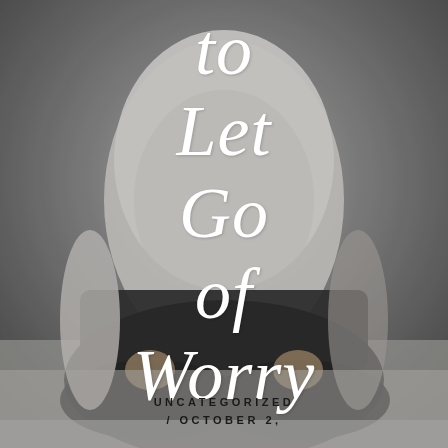[Figure (photo): A person sitting cross-legged on the floor in a meditative pose, wearing a white long-sleeve top and dark pants/skirt. The image is desaturated/grayscale with soft lighting. Large white italic script text overlays the image reading 'to Let Go of Worry'. Below the image area is footer text reading 'UNCATEGORIZED / OCTOBER 2,'.]
to
Let
Go
of
Worry
UNCATEGORIZED / OCTOBER 2,